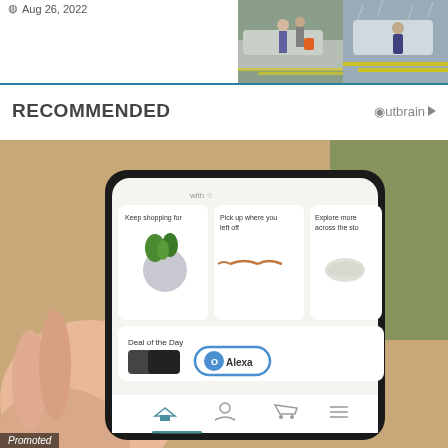Aug 26, 2022
[Figure (photo): Two people standing next to a car outdoors, and a person walking in the rain on yellow markings]
RECOMMENDED
[Figure (photo): A hand holding a smartphone showing the Amazon shopping app with sections: Keep shopping for, Pick up where you left off, Explore more across the store, Deal of the Day, with Alexa button visible. Promoted label at bottom.]
Promoted